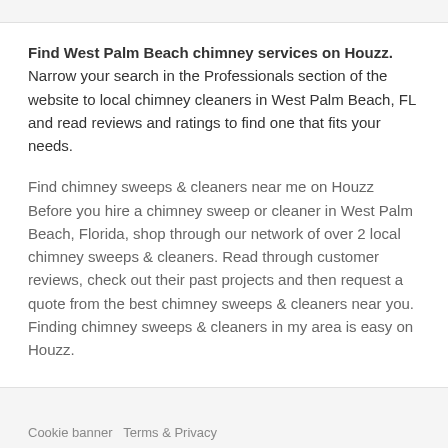Find West Palm Beach chimney services on Houzz. Narrow your search in the Professionals section of the website to local chimney cleaners in West Palm Beach, FL and read reviews and ratings to find one that fits your needs.
Find chimney sweeps & cleaners near me on Houzz Before you hire a chimney sweep or cleaner in West Palm Beach, Florida, shop through our network of over 2 local chimney sweeps & cleaners. Read through customer reviews, check out their past projects and then request a quote from the best chimney sweeps & cleaners near you. Finding chimney sweeps & cleaners in my area is easy on Houzz.
Cookie banner  Terms & Privacy